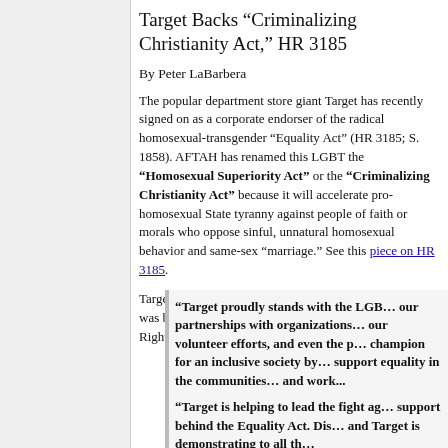Target Backs “Criminalizing Christianity Act,” HR 3185
By Peter LaBarbera
The popular department store giant Target has recently signed on as a corporate endorser of the radical homosexual-transgender “Equality Act” (HR 3185; S. 1858). AFTAH has renamed this LGBT the “Homosexual Superiority Act” or the “Criminalizing Christianity Act” because it will accelerate pro-homosexual State tyranny against people of faith or morals who oppose sinful, unnatural homosexual behavior and same-sex “marriage.” See this piece on HR 3185.
Target recently put out a statement on HR 3185–which was ballyhooed by the powerful, anti-Christian Human Rights Campaign (a Target ally):
“Target proudly stands with the LGB… our partnerships with organizations… our volunteer efforts, and even the p… champion for an inclusive society by… support equality in the communities… and work...”
“Target is helping to lead the fight ag… support behind the Equality Act. Dis… and Target is demonstrating to all th…”